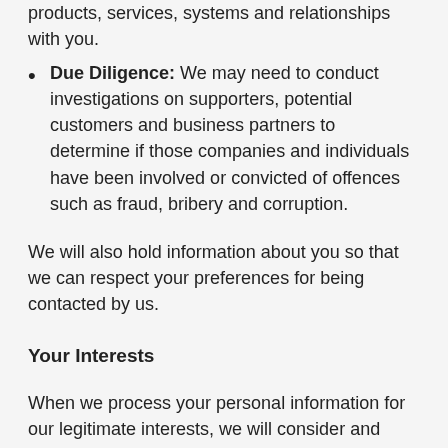products, services, systems and relationships with you.
Due Diligence: We may need to conduct investigations on supporters, potential customers and business partners to determine if those companies and individuals have been involved or convicted of offences such as fraud, bribery and corruption.
We will also hold information about you so that we can respect your preferences for being contacted by us.
Your Interests
When we process your personal information for our legitimate interests, we will consider and balance any potential impact on you and your rights under data protection and any other relevant law. Our legitimate business interests do